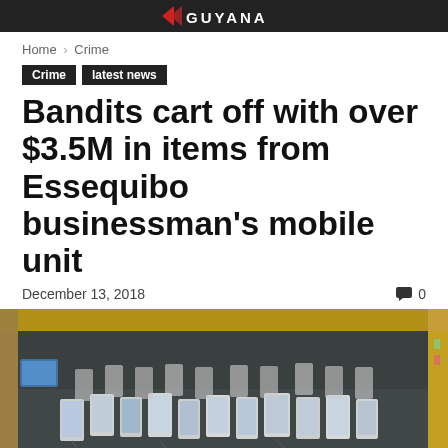GUYANA
Home › Crime
Crime
latest news
Bandits cart off with over $3.5M in items from Essequibo businessman's mobile unit
December 13, 2018   0
[Figure (photo): Interior of a truck/mobile unit showing numerous smartphones and mobile devices laid out, with charging cables visible. The setting appears to be a commercial mobile phone sales unit.]